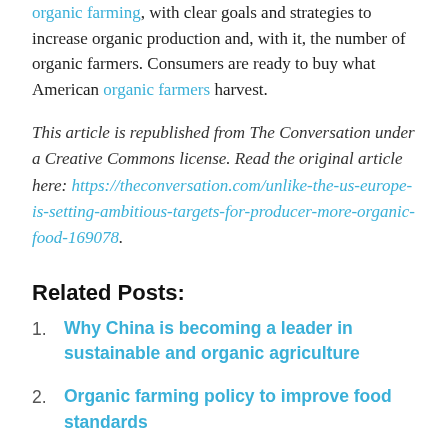organic farming, with clear goals and strategies to increase organic production and, with it, the number of organic farmers. Consumers are ready to buy what American organic farmers harvest.
This article is republished from The Conversation under a Creative Commons license. Read the original article here: https://theconversation.com/unlike-the-us-europe-is-setting-ambitious-targets-for-producer-more-organic-food-169078.
Related Posts:
Why China is becoming a leader in sustainable and organic agriculture
Organic farming policy to improve food standards